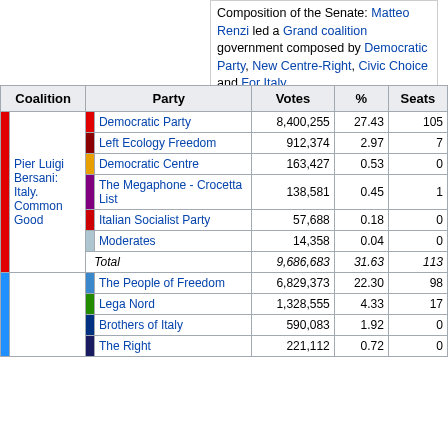Composition of the Senate: Matteo Renzi led a Grand coalition government composed by Democratic Party, New Centre-Right, Civic Choice and For Italy.
| Coalition | Party | Votes | % | Seats |
| --- | --- | --- | --- | --- |
| Pier Luigi Bersani: Italy. Common Good | Democratic Party | 8,400,255 | 27.43 | 105 |
| Pier Luigi Bersani: Italy. Common Good | Left Ecology Freedom | 912,374 | 2.97 | 7 |
| Pier Luigi Bersani: Italy. Common Good | Democratic Centre | 163,427 | 0.53 | 0 |
| Pier Luigi Bersani: Italy. Common Good | The Megaphone - Crocetta List | 138,581 | 0.45 | 1 |
| Pier Luigi Bersani: Italy. Common Good | Italian Socialist Party | 57,688 | 0.18 | 0 |
| Pier Luigi Bersani: Italy. Common Good | Moderates | 14,358 | 0.04 | 0 |
|  | Total | 9,686,683 | 31.63 | 113 |
|  | The People of Freedom | 6,829,373 | 22.30 | 98 |
|  | Lega Nord | 1,328,555 | 4.33 | 17 |
|  | Brothers of Italy | 590,083 | 1.92 | 0 |
|  | The Right | 221,112 | 0.72 | 0 |